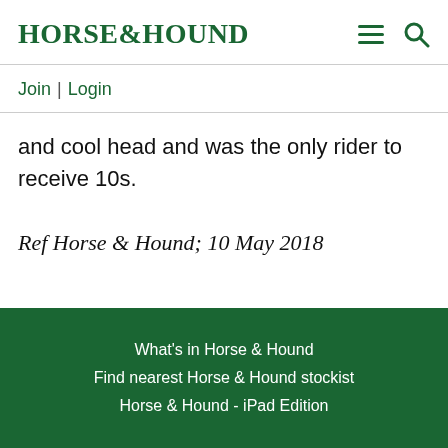HORSE&HOUND
Join | Login
and cool head and was the only rider to receive 10s.
Ref Horse & Hound; 10 May 2018
What's in Horse & Hound
Find nearest Horse & Hound stockist
Horse & Hound - iPad Edition